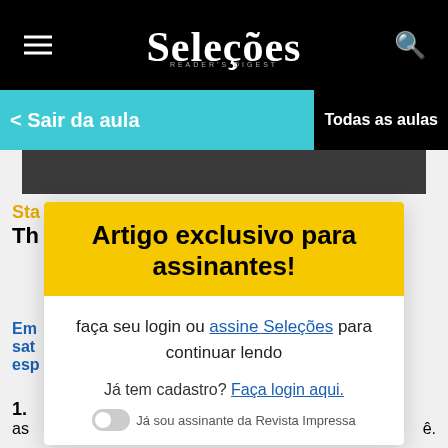Seleções Reader's Digest
Sair da aula
Todas as aulas
Artigo exclusivo para assinantes!
faça seu login ou assine Seleções para continuar lendo
Já tem cadastro? Faça login aqui.
Já sou assinante da Revista Impressa